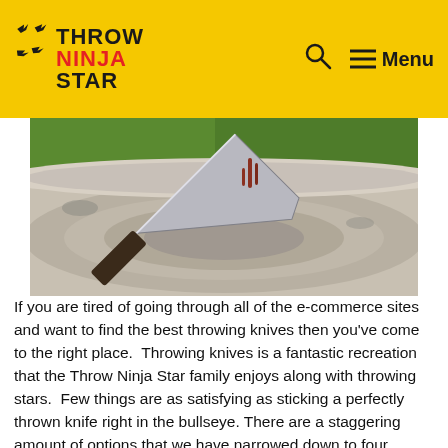Throw Ninja Star — navigation header with logo, search icon, and menu
[Figure (photo): Close-up photo of a throwing knife embedded in a birch wood log, with green foliage in the background]
If you are tired of going through all of the e-commerce sites and want to find the best throwing knives then you've come to the right place.  Throwing knives is a fantastic recreation that the Throw Ninja Star family enjoys along with throwing stars.  Few things are as satisfying as sticking a perfectly thrown knife right in the bullseye. There are a staggering amount of options that we have narrowed down to four different options that we would classify as the best throwing knives for each of their intended uses.